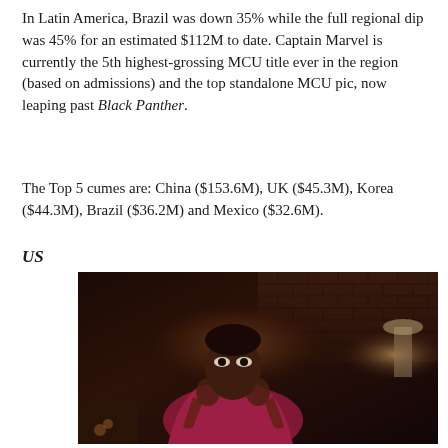In Latin America, Brazil was down 35% while the full regional dip was 45% for an estimated $112M to date. Captain Marvel is currently the 5th highest-grossing MCU title ever in the region (based on admissions) and the top standalone MCU pic, now leaping past Black Panther.
The Top 5 cumes are: China ($153.6M), UK ($45.3M), Korea ($44.3M), Brazil ($36.2M) and Mexico ($32.6M).
US
[Figure (photo): A woman in a red top with her hands raised to her face, looking upward with an expression of surprise or fear, set against a dark background with a brick wall visible.]